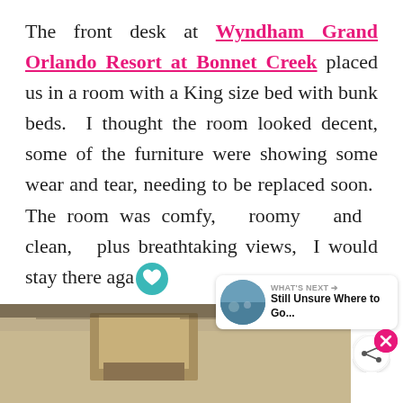The front desk at Wyndham Grand Orlando Resort at Bonnet Creek placed us in a room with a King size bed with bunk beds. I thought the room looked decent, some of the furniture were showing some wear and tear, needing to be replaced soon. The room was comfy, roomy and clean, plus breathtaking views, I would stay there aga...
[Figure (photo): Interior hotel room photo showing a room with curtains and furniture, partially visible at the bottom of the page]